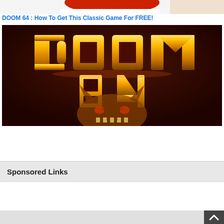[Figure (photo): Partial view of a Christmas-themed image showing a figure in red and white costume, cropped at top of page]
DOOM 64 : How To Get This Classic Game For FREE!
[Figure (photo): DOOM 64 game cover/promotional image showing the DOOM 64 logo in gold metallic letters over a dark background with a demon face below]
Sponsored Links
[Figure (other): Advertisement placeholder area (white box)]